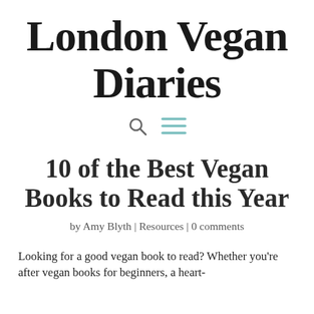London Vegan Diaries
[Figure (other): Navigation bar with search icon (magnifying glass) and hamburger menu icon in teal/cyan color]
10 of the Best Vegan Books to Read this Year
by Amy Blyth | Resources | 0 comments
Looking for a good vegan book to read? Whether you're after vegan books for beginners, a heart-